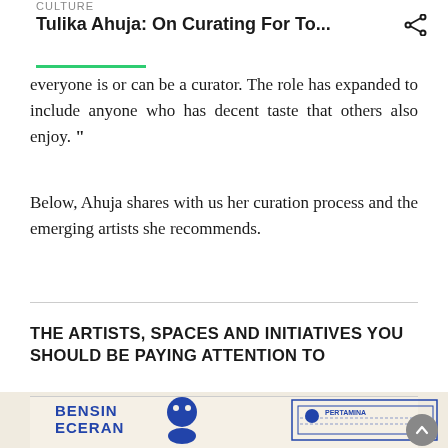CULTURE
Tulika Ahuja: On Curating For To...
everyone is or can be a curator. The role has expanded to include anyone who has decent taste that others also enjoy. ”
Below, Ahuja shares with us her curation process and the emerging artists she recommends.
THE ARTISTS, SPACES AND INITIATIVES YOU SHOULD BE PAYING ATTENTION TO
[Figure (photo): Image showing 'BENSIN ECERAN' text with a blue illustrated figure and a Pertamina receipt/document on a beige background]